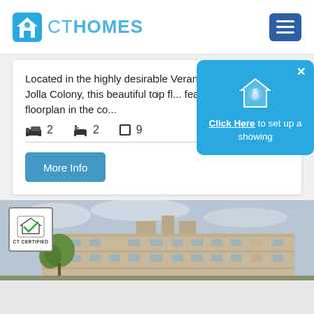[Figure (logo): CT Homes logo with blue house icon and blue text CT HOMES, navigation hamburger menu in dark blue on the right]
Located in the highly desirable Verano community in La Jolla Colony, this beautiful top fl... features the largest floorplan in the co...
Bed icon 2  Bath icon 2  Square icon 9...
More Info button
[Figure (infographic): Blue popup overlay with house/person icon reading 'Click Here to set up a showing']
[Figure (photo): Photo of a multi-story residential apartment building with trees and overcast sky, CT Certified badge overlay in top left corner]